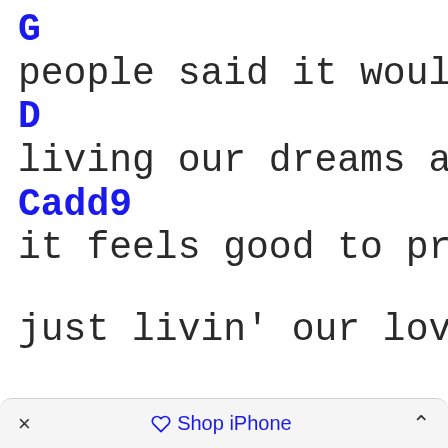G
people said it would nev
D
living our dreams and sh
Cadd9
it feels good to prove t
just livin' our love son
× Shop iPhone ^